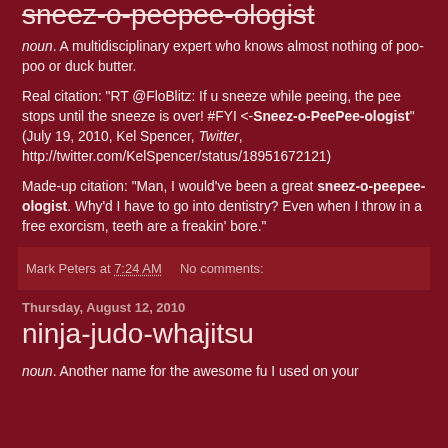sneez-o-peepee-ologist
noun. A multidisciplinary expert who knows almost nothing of poo-poo or duck butter.
Real citation: "RT @FloBlitz: If u sneeze while peeing, the pee stops until the sneeze is over! #FYI <-Sneez-o-PeePee-ologist"
(July 19, 2010, Kel Spencer, Twitter, http://twitter.com/KelSpencer/status/18951672121)
Made-up citation: "Man, I would've been a great sneez-o-peepee-ologist. Why'd I have to go into dentistry? Even when I throw in a free exorcism, teeth are a freakin' bore."
Mark Peters at 7:24 AM   No comments:
Thursday, August 12, 2010
ninja-judo-whajitsu
noun. Another name for the awesome fu I used on your